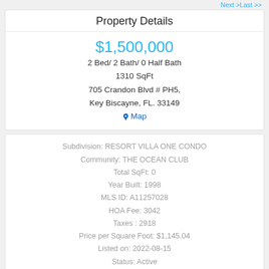Next >Last >>
Property Details
$1,500,000
2 Bed/ 2 Bath/ 0 Half Bath
1310 SqFt
705 Crandon Blvd # PH5,
Key Biscayne, FL. 33149
Map
Subdivision: RESORT VILLA ONE CONDO
Community: THE OCEAN CLUB
Total SqFt: 0
Year Built: 1998
MLS ID: A11257028
HOA Fee: 3042
Taxes : 2918
Price per Square Foot: $1,145.04
Listed on: 2022-08-15
Status: Active
Map    Details